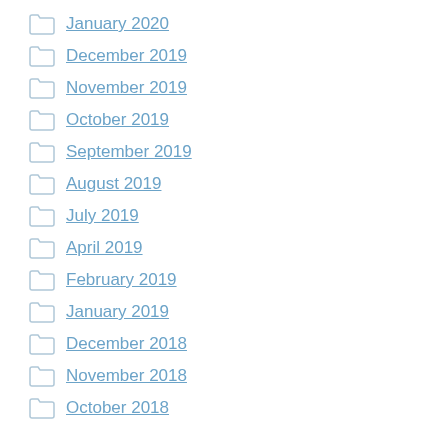January 2020
December 2019
November 2019
October 2019
September 2019
August 2019
July 2019
April 2019
February 2019
January 2019
December 2018
November 2018
October 2018